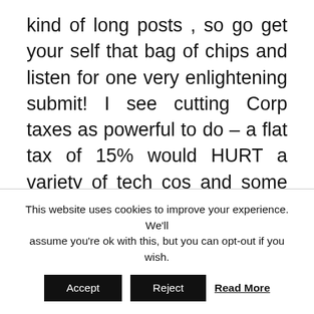kind of long posts , so go get your self that bag of chips and listen for one very enlightening submit! I see cutting Corp taxes as powerful to do – a flat tax of 15% would HURT a variety of tech cos and some pharmas – their efficient charges could already be a lot lower – Google and Apple; however profit domestic firms. In flip, this might result in a larger willingness available in the market to simply accept that the risk profile of Islamic finance justifies larger compensation. We buy delinquent credit card loans from major US Banks and accumulate
This website uses cookies to improve your experience. We'll assume you're ok with this, but you can opt-out if you wish.